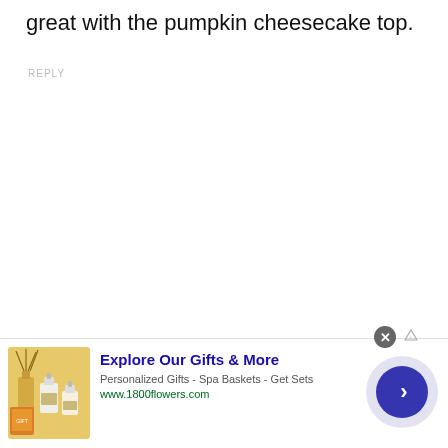great with the pumpkin cheesecake top.
REPLY
[Figure (infographic): Advertisement banner for 1800flowers.com showing gift products (reed diffuser, soap/lotion bottles) with text 'Explore Our Gifts & More', 'Personalized Gifts - Spa Baskets - Get Sets', 'www.1800flowers.com', a close button, AdChoices icon, and a circular arrow button for navigation.]